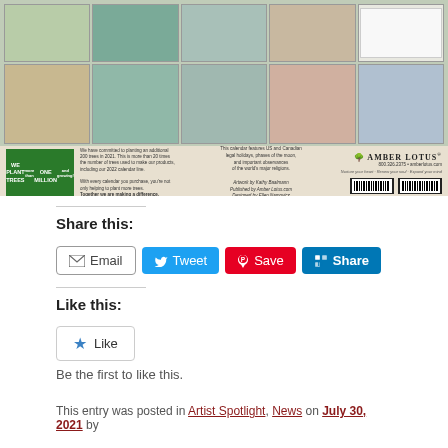[Figure (photo): Back cover of an Amber Lotus calendar featuring multiple illustrated art panels of women, birds, and florals, with a green 'We Plant Trees' eco label, center text about the calendar, Amber Lotus logo and barcode at bottom.]
Share this:
[Figure (other): Social sharing buttons: Email, Tweet, Save (Pinterest), Share (LinkedIn)]
Like this:
[Figure (other): Like button with star icon]
Be the first to like this.
This entry was posted in Artist Spotlight, News on July 30, 2021 by